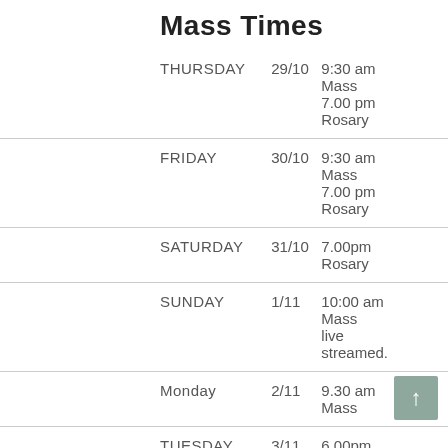Mass Times
| Day | Date | Times |
| --- | --- | --- |
| THURSDAY | 29/10 | 9:30 am Mass
7.00 pm Rosary |
| FRIDAY | 30/10 | 9:30 am Mass
7.00 pm Rosary |
| SATURDAY | 31/10 | 7.00pm Rosary |
| SUNDAY | 1/11 | 10:00 am Mass
live streamed. |
| Monday | 2/11 | 9.30 am Mass |
| TUESDAY | 3/11 | 6.00pm Mass |
| WEDNESDAY | 4/11 | 9:30 am Mass
Live Streamed |
| THURSDAY | 5/11 | 9:30 am Mass |
| FRIDAY | 6/11 | 9:30 am Mass |